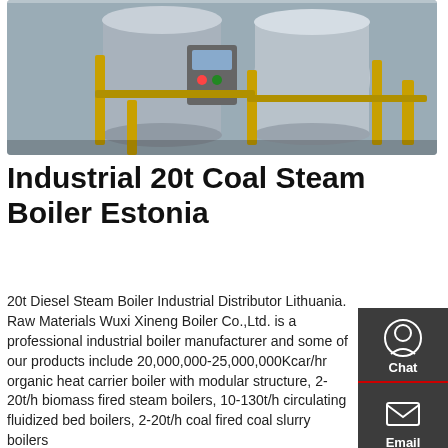[Figure (photo): Industrial coal steam boilers in a factory setting, large cylindrical boilers with yellow pipes and equipment]
Industrial 20t Coal Steam Boiler Estonia
20t Diesel Steam Boiler Industrial Distributor Lithuania. Raw Materials Wuxi Xineng Boiler Co.,Ltd. is a professional industrial boiler manufacturer and some of our products include 20,000,000-25,000,000Kcar/hr organic heat carrier boiler with modular structure, 2-20t/h biomass fired steam boilers, 10-130t/h circulating fluidized bed boilers, 2-20t/h coal fired coal slurry boilers ...
[Figure (screenshot): Bottom portion of a boiler factory interior with yellow structural elements and industrial piping]
[Figure (infographic): WhatsApp contact button with green icon and 'Contact us now!' bubble, plus live chat bubble saying 'Hey, we are live 24/7. How may I help you?']